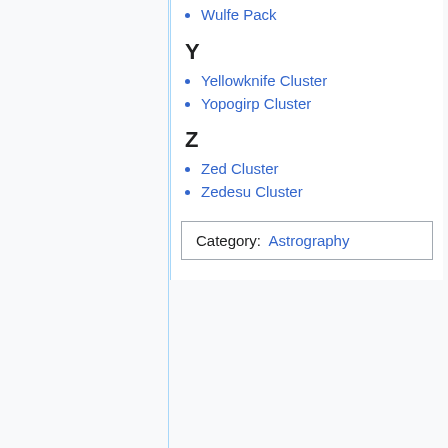Wulfe Pack
Y
Yellowknife Cluster
Yopogirp Cluster
Z
Zed Cluster
Zedesu Cluster
Category:  Astrography
This page was last edited on 5 December 2020, at 13:16.
Content is available under Traveller Copyright.
Privacy policy   About Traveller   Disclaimers